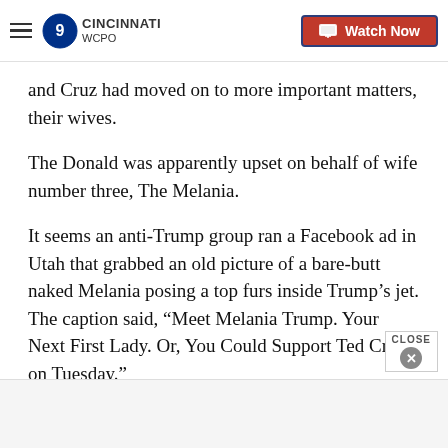WCPO 9 Cincinnati | Watch Now
and Cruz had moved on to more important matters, their wives.
The Donald was apparently upset on behalf of wife number three, The Melania.
It seems an anti-Trump group ran a Facebook ad in Utah that grabbed an old picture of a bare-butt naked Melania posing a top furs inside Trump’s jet. The caption said, “Meet Melania Trump. Your Next First Lady. Or, You Could Support Ted Cruz on Tuesday.”